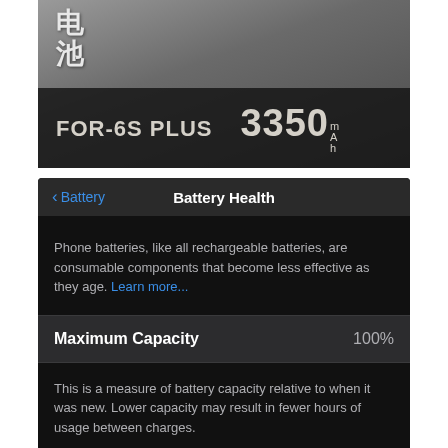[Figure (photo): Photo of a replacement battery package labeled FOR-6S PLUS 3350 mAh with Chinese characters for battery (电池) visible in the top left. The battery and packaging are shown against a dark background.]
[Figure (screenshot): iOS Battery Health settings screen on a dark background. Shows navigation bar with '< Battery' back button and 'Battery Health' title. Contains informational text about rechargeable batteries with a 'Learn more...' link, a 'Maximum Capacity' row showing 100%, a description about capacity relative to new, and a partially visible 'Peak Performance Capability' section.]